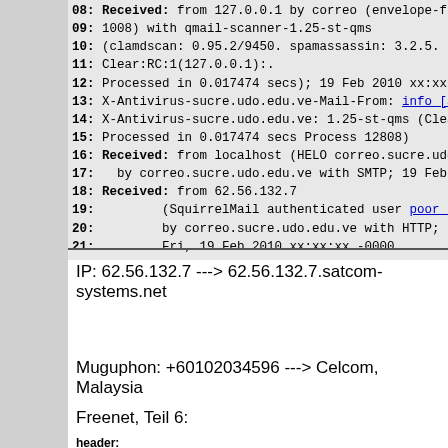08: Received: from 127.0.0.1 by correo (envelope-from <inf
09: 1008) with qmail-scanner-1.25-st-qms
10: (clamdscan: 0.95.2/9450. spamassassin: 3.2.5. perlsca
11: Clear:RC:1(127.0.0.1):.
12: Processed in 0.017474 secs); 19 Feb 2010 xx:xx:xx -00
13: X-Antivirus-sucre.udo.edu.ve-Mail-From: info [at] chan
14: X-Antivirus-sucre.udo.edu.ve: 1.25-st-qms (Clear:RC:1(
15: Processed in 0.017474 secs Process 12808)
16: Received: from localhost (HELO correo.sucre.udo.edu.ve
17: by correo.sucre.udo.edu.ve with SMTP; 19 Feb 2010 xx
18: Received: from 62.56.132.7
19: (SquirrelMail authenticated user poor [at] spa
20: by correo.sucre.udo.edu.ve with HTTP;
21: Fri, 19 Feb 2010 xx:xx:xx -0000
IP: 62.56.132.7 ---> 62.56.132.7.satcom-systems.net
Muguphon: +60102034596 ---> Celcom, Malaysia
Freenet, Teil 6:
header:
01: Received: from mout7.freenet.de (mout7.freenet.de [195
02: (using TLSv1 with cipher DHE-RSA-AES256-SHA (256/2
03: (No client certificate requested)